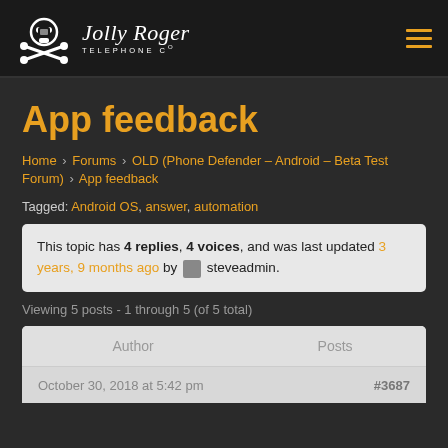Jolly Roger Telephone Co
App feedback
Home › Forums › OLD (Phone Defender – Android – Beta Test Forum) › App feedback
Tagged: Android OS, answer, automation
This topic has 4 replies, 4 voices, and was last updated 3 years, 9 months ago by steveadmin.
Viewing 5 posts - 1 through 5 (of 5 total)
| Author | Posts |
| --- | --- |
| October 30, 2018 at 5:42 pm | #3687 |